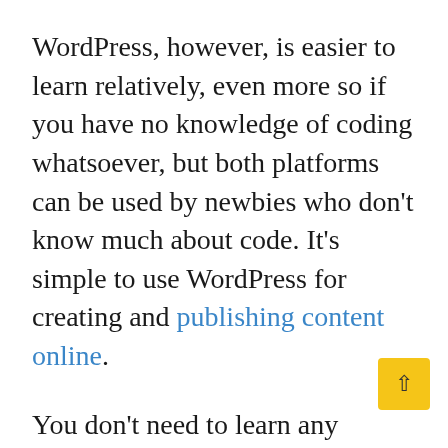WordPress, however, is easier to learn relatively, even more so if you have no knowledge of coding whatsoever, but both platforms can be used by newbies who don't know much about code. It's simple to use WordPress for creating and publishing content online.
You don't need to learn any coding skills to publish content using WordPress. It's intuitive and easy for anyone to use, wi navigation menu at the top, which allows